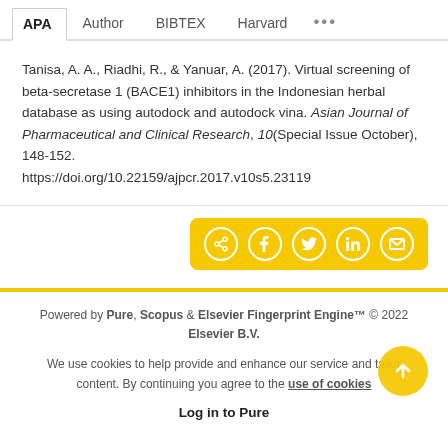APA  Author  BIBTEX  Harvard  ...
Tanisa, A. A., Riadhi, R., & Yanuar, A. (2017). Virtual screening of beta-secretase 1 (BACE1) inhibitors in the Indonesian herbal database as using autodock and autodock vina. Asian Journal of Pharmaceutical and Clinical Research, 10(Special Issue October), 148-152. https://doi.org/10.22159/ajpcr.2017.v10s5.23119
[Figure (other): Share bar with social media icons (share, Facebook, Twitter, LinkedIn, email) on yellow background]
Powered by Pure, Scopus & Elsevier Fingerprint Engine™ © 2022 Elsevier B.V.
We use cookies to help provide and enhance our service and tailor content. By continuing you agree to the use of cookies
Log in to Pure